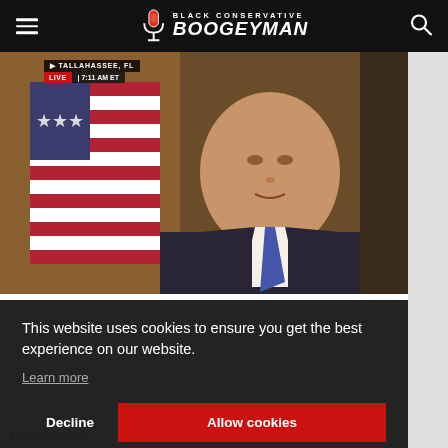Black Conservative Boogeyman
[Figure (screenshot): Screenshot of a news broadcast from Tallahassee, FL showing LIVE 7:11 AM ET chyron over a man in a dark suit with American flag in background]
This website uses cookies to ensure you get the best experience on our website.
Learn more
Decline
Allow cookies
Fauci during a...